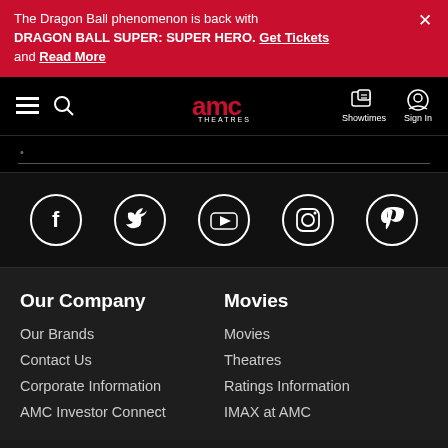The Dragon Ball phenomenon is back with DRAGON BALL SUPER: SUPER HERO. Get Tickets and Read More
[Figure (screenshot): AMC Theatres navigation bar with hamburger menu, search icon, AMC Theatres logo, Showtimes icon, and Sign In icon on black background]
[Figure (infographic): Social media icons in white circles on black background: Facebook, Twitter, YouTube, Instagram, Pinterest]
Our Company
Our Brands
Contact Us
Corporate Information
AMC Investor Connect
Movies
Movies
Theatres
Ratings Information
IMAX at AMC